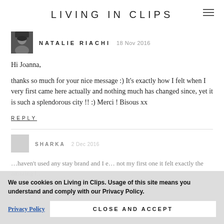LIVING IN CLIPS
NATALIE RIACHI  18 Nov 2016
Hi Joanna,
thanks so much for your nice message :) It's exactly how I felt when I very first came here actually and nothing much has changed since, yet it is such a splendorous city !! :) Merci ! Bisous xx
REPLY
SHARKA  2 Dec 2016
We use cookies on Living in Clips. Usage of this site means you understand and comply with our Privacy Policy.
Privacy Policy
CLOSE AND ACCEPT